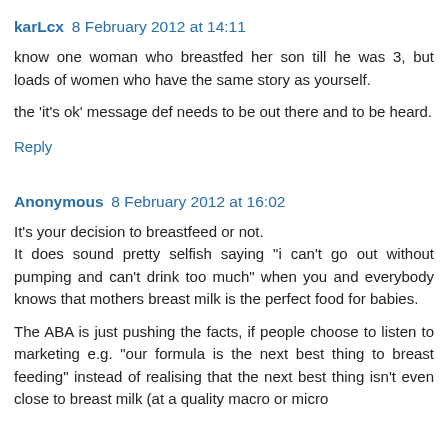karLcx 8 February 2012 at 14:11
know one woman who breastfed her son till he was 3, but loads of women who have the same story as yourself.
the 'it's ok' message def needs to be out there and to be heard.
Reply
Anonymous 8 February 2012 at 16:02
It's your decision to breastfeed or not.
It does sound pretty selfish saying "i can't go out without pumping and can't drink too much" when you and everybody knows that mothers breast milk is the perfect food for babies.
The ABA is just pushing the facts, if people choose to listen to marketing e.g. "our formula is the next best thing to breast feeding" instead of realising that the next best thing isn't even close to breast milk (at a quality macro or micro